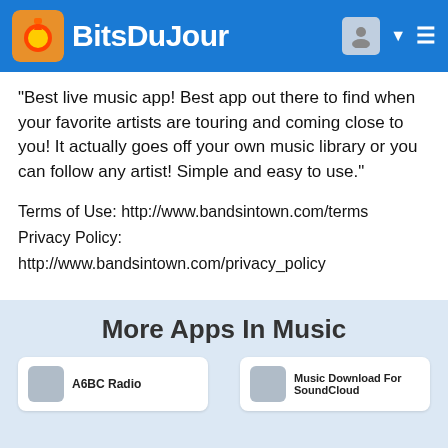BitsDuJour
“Best live music app! Best app out there to find when your favorite artists are touring and coming close to you! It actually goes off your own music library or you can follow any artist! Simple and easy to use.”
Terms of Use: http://www.bandsintown.com/terms
Privacy Policy: http://www.bandsintown.com/privacy_policy
? Bugs / Crash? Feedback? ?
Email: iphoneapp@bandsintown.com
More Apps In Music
[Figure (screenshot): App card for A6BC Radio]
[Figure (screenshot): App card for Music Download For SoundCloud]